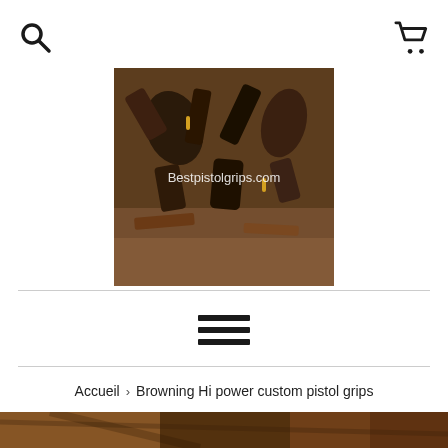[Figure (logo): Bestpistolgrips.com logo - pile of wooden pistol grips scattered on textured surface with watermark text]
[Figure (other): Hamburger menu icon with three horizontal bars]
Accueil › Browning Hi power custom pistol grips
[Figure (photo): Close-up photo of wooden pistol grips, brown/russet tones, partial view at bottom of page]